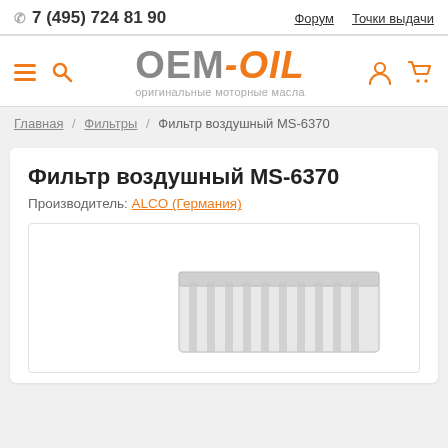7 (495) 724 81 90  |  Форум  |  Точки выдачи
[Figure (logo): OEM-OIL logo with orange OIL text and gray OEM text, subtitle: оригинальные моторные масла]
Главная / Фильтры / Фильтр воздушный MS-6370
Фильтр воздушный MS-6370
Производитель: ALCO (Германия)
[Figure (photo): Product image of air filter MS-6370, white rectangular air filter element partially visible at bottom]